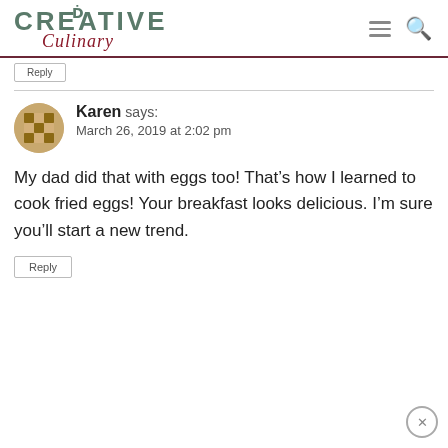Creative Culinary
Karen says:
March 26, 2019 at 2:02 pm
My dad did that with eggs too! That's how I learned to cook fried eggs! Your breakfast looks delicious. I'm sure you'll start a new trend.
Reply